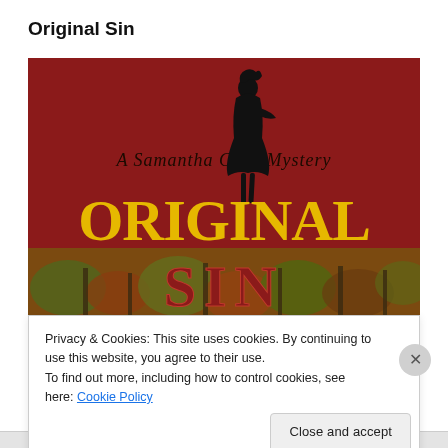Original Sin
[Figure (illustration): Book cover for 'Original Sin: A Samantha Cody Mystery'. Dark red/maroon background with a black silhouette of a woman at the top. Text 'A Samantha Cody Mystery' in dark serif font at top. Large yellow bold text 'ORIGINAL' in the middle, and large dark red 'SIN' at the bottom over an autumn landscape with colorful trees.]
Privacy & Cookies: This site uses cookies. By continuing to use this website, you agree to their use.
To find out more, including how to control cookies, see here: Cookie Policy
Close and accept